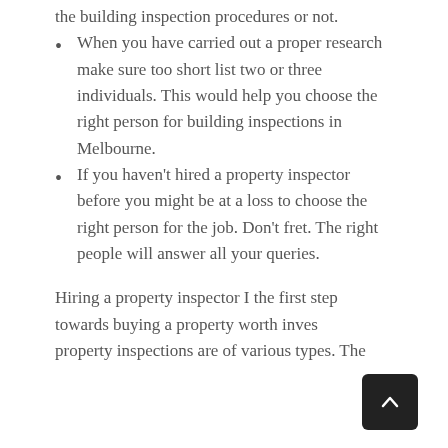the building inspection procedures or not.
When you have carried out a proper research make sure too short list two or three individuals. This would help you choose the right person for building inspections in Melbourne.
If you haven't hired a property inspector before you might be at a loss to choose the right person for the job. Don't fret. The right people will answer all your queries.
Hiring a property inspector I the first step towards buying a property worth investing. property inspections are of various types. The